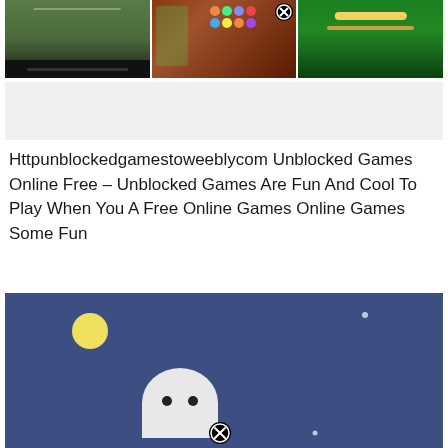[Figure (screenshot): Three game thumbnail images side by side: a soccer game, a gem-matching puzzle game with a close button, and a jungle platformer game]
[Figure (other): Grey advertisement banner placeholder]
Httpunblockedgamestoweeblycom Unblocked Games Online Free – Unblocked Games Are Fun And Cool To Play When You A Free Online Games Online Games Some Fun
[Figure (screenshot): A game screenshot with a dark blue night background, a yellow moon, a white ghost character with black dot eyes, and a small close/X button overlay]